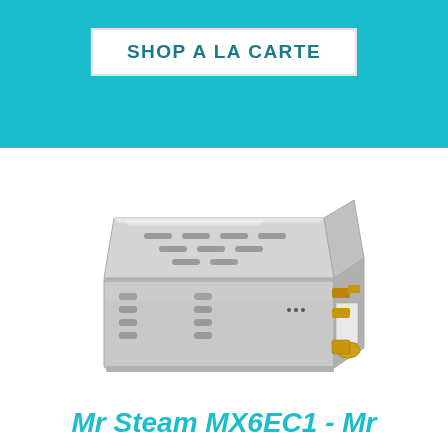SHOP A LA CARTE
[Figure (photo): Mr Steam MX6EC1 steam generator unit - stainless steel rectangular box with ventilation slots on top and front, brass valves and fittings on the right side]
Mr Steam MX6EC1 - Mr